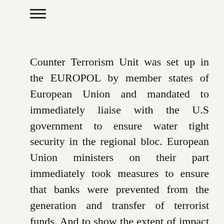Counter Terrorism Unit was set up in the EUROPOL by member states of European Union and mandated to immediately liaise with the U.S government to ensure water tight security in the regional bloc. European Union ministers on their part immediately took measures to ensure that banks were prevented from the generation and transfer of terrorist funds. And to show the extent of impact the attack had on the psyche of the global community and the readiness of nations to fight the scourge, as was recorded by Carter